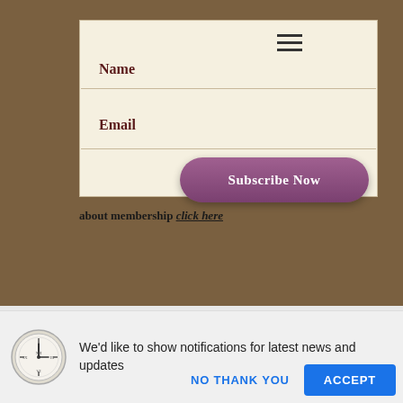[Figure (screenshot): Website subscription form with Name and Email fields, hamburger menu icon, and a purple 'Subscribe Now' button on a cream background panel over a brown background]
about membership click here
We'd like to show notifications for latest news and updates
NO THANK YOU
ACCEPT